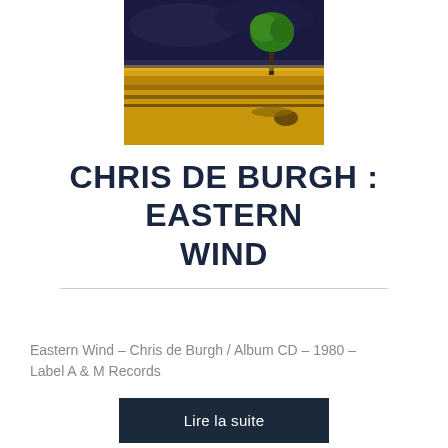[Figure (photo): Album cover art for Eastern Wind by Chris de Burgh. Painting of a yellow/golden field landscape under a dark dramatic sky, with a green tree on the right side.]
CHRIS DE BURGH : EASTERN WIND
Eastern Wind – Chris de Burgh / Album CD – 1980 – Label A & M Records
Lire la suite